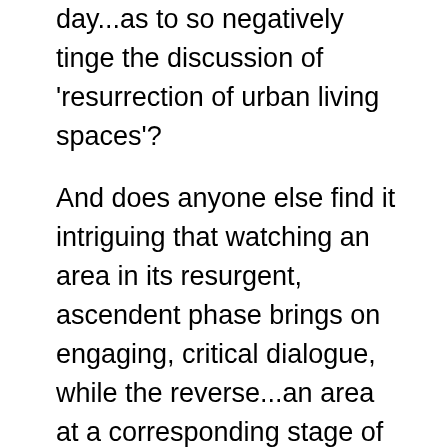day...as to so negatively tinge the discussion of 'resurrection of urban living spaces'?

And does anyone else find it intriguing that watching an area in its resurgent, ascendent phase brings on engaging, critical dialogue, while the reverse...an area at a corresponding stage of its descent...regularly doesn't generate hardly any discussion at all...? (Yeah, I know; yet another huge topic...) And no, I'm not talking about areas where clearly they're well into dormancy, such as segments of Barton Street, I'm talking about those areas whose vibrancy is just beginning to fail. (Easier to look back in retrospect, !!!